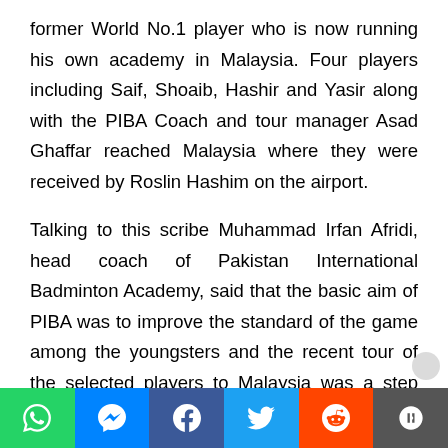former World No.1 player who is now running his own academy in Malaysia. Four players including Saif, Shoaib, Hashir and Yasir along with the PIBA Coach and tour manager Asad Ghaffar reached Malaysia where they were received by Roslin Hashim on the airport.
Talking to this scribe Muhammad Irfan Afridi, head coach of Pakistan International Badminton Academy, said that the basic aim of PIBA was to improve the standard of the game among the youngsters and the recent tour of the selected players to Malaysia was a step towards it. Speaking on the phone from Malaysia, Asad Ghaffar said that the facilities and coaching standards at Hashim Roslin Badminton Academy are
[Figure (other): Social sharing bar with WhatsApp, Messenger, Facebook, Twitter, Reddit, and More buttons]